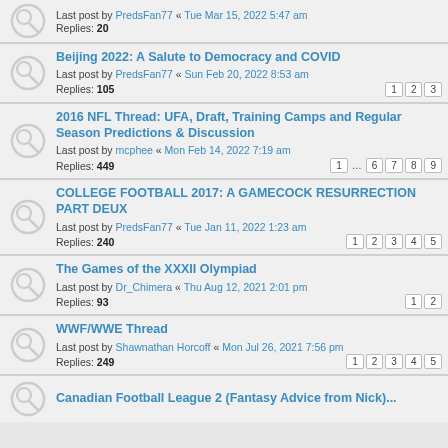Last post by PredsFan77 « Tue Mar 15, 2022 5:47 am
Replies: 20
Beijing 2022: A Salute to Democracy and COVID
Last post by PredsFan77 « Sun Feb 20, 2022 8:53 am
Replies: 105
Pages: 1 2 3
2016 NFL Thread: UFA, Draft, Training Camps and Regular Season Predictions & Discussion
Last post by mcphee « Mon Feb 14, 2022 7:19 am
Replies: 449
Pages: 1 ... 6 7 8 9
COLLEGE FOOTBALL 2017: A GAMECOCK RESURRECTION PART DEUX
Last post by PredsFan77 « Tue Jan 11, 2022 1:23 am
Replies: 240
Pages: 1 2 3 4 5
The Games of the XXXII Olympiad
Last post by Dr_Chimera « Thu Aug 12, 2021 2:01 pm
Replies: 93
Pages: 1 2
WWF/WWE Thread
Last post by Shawnathan Horcoff « Mon Jul 26, 2021 7:56 pm
Replies: 249
Pages: 1 2 3 4 5
Canadian Football League 2 (Fantasy Advice from Nick)...